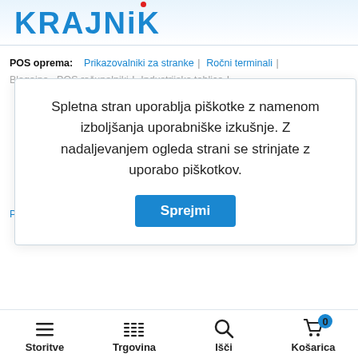[Figure (logo): KRAJNIK logo in blue bold text with red dot above the i]
POS oprema:   Prikazovalniki za stranke |   Ročni terminali |  Blagajna   POS računalniki |  Industrijske tablice |
monitorji |  denar |  e Healthcare |  a |  oke |
Papir / Računski trakovi |   Tonerji, bobni, razvijalne enote |   Trakovi
Spletna stran uporablja piškotke z namenom izboljšanja uporabniške izkušnje. Z nadaljevanjem ogleda strani se strinjate z uporabo piškotkov.   Sprejmi
Storitve   Trgovina   Išči   Košarica 0